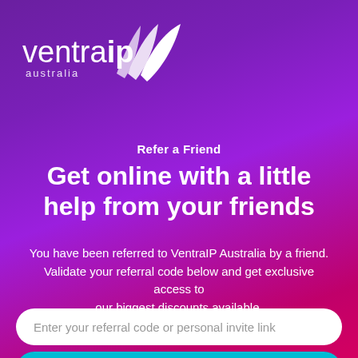[Figure (logo): VentraIP Australia logo - white text with decorative leaf/sail shapes on purple gradient background]
Refer a Friend
Get online with a little help from your friends
You have been referred to VentraIP Australia by a friend. Validate your referral code below and get exclusive access to our biggest discounts available.
Enter your referral code or personal invite link